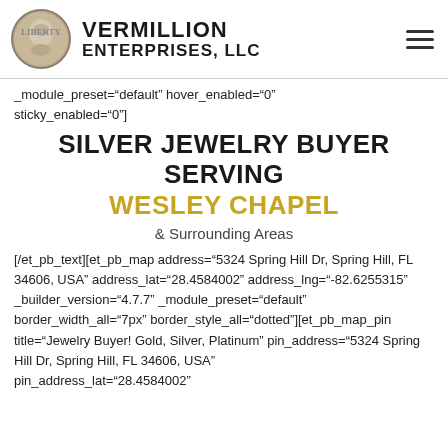VERMILLION ENTERPRISES, LLC
_module_preset="default" hover_enabled="0" sticky_enabled="0"]
SILVER JEWELRY BUYER SERVING WESLEY CHAPEL
& Surrounding Areas
[/et_pb_text][et_pb_map address="5324 Spring Hill Dr, Spring Hill, FL 34606, USA" address_lat="28.4584002" address_lng="-82.6255315" _builder_version="4.7.7" _module_preset="default" border_width_all="7px" border_style_all="dotted"][et_pb_map_pin title="Jewelry Buyer! Gold, Silver, Platinum" pin_address="5324 Spring Hill Dr, Spring Hill, FL 34606, USA"
pin_address_lat="28.4584002"